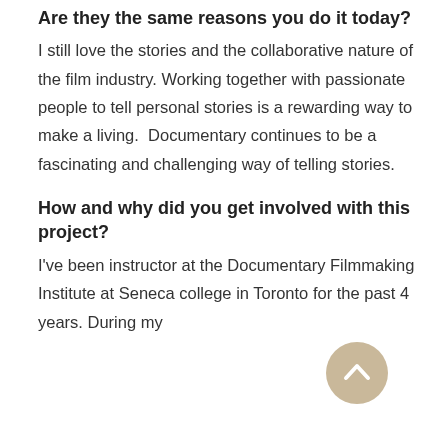Are they the same reasons you do it today?
I still love the stories and the collaborative nature of the film industry. Working together with passionate people to tell personal stories is a rewarding way to make a living.  Documentary continues to be a fascinating and challenging way of telling stories.
How and why did you get involved with this project?
I've been instructor at the Documentary Filmmaking Institute at Seneca college in Toronto for the past 4 years. During my